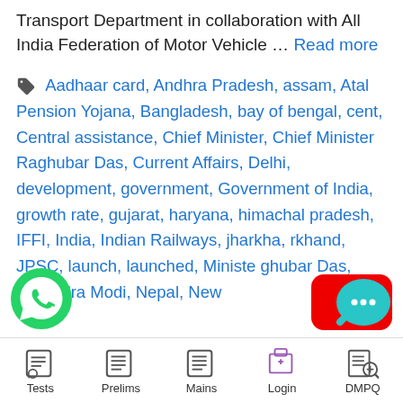Transport Department in collaboration with All India Federation of Motor Vehicle … Read more
Aadhaar card, Andhra Pradesh, assam, Atal Pension Yojana, Bangladesh, bay of bengal, cent, Central assistance, Chief Minister, Chief Minister Raghubar Das, Current Affairs, Delhi, development, government, Government of India, growth rate, gujarat, haryana, himachal pradesh, IFFI, India, Indian Railways, jharkha, rkhand, JPSC, launch, launched, Minister, ghubar Das, Narendra Modi, Nepal, New...
[Figure (logo): YouTube play button red logo]
[Figure (logo): WhatsApp green phone icon]
[Figure (logo): Chat bubble teal icon with ellipsis]
Tests  Prelims  Mains  Login  DMPQ